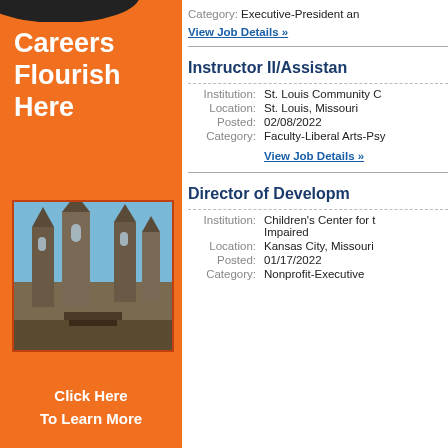[Figure (illustration): Orange sidebar advertisement with 'Careers Flourish Here' heading, photo of gothic church/university building, and 'Click Here To Learn More' call to action]
Category: Executive-President an
View Job Details »
Instructor II/Assistan
Institution: St. Louis Community C
Location: St. Louis, Missouri
Posted: 02/08/2022
Category: Faculty-Liberal Arts-Psy
View Job Details »
Director of Developm
Institution: Children's Center for the Impaired
Location: Kansas City, Missouri
Posted: 01/17/2022
Category: Nonprofit-Executive